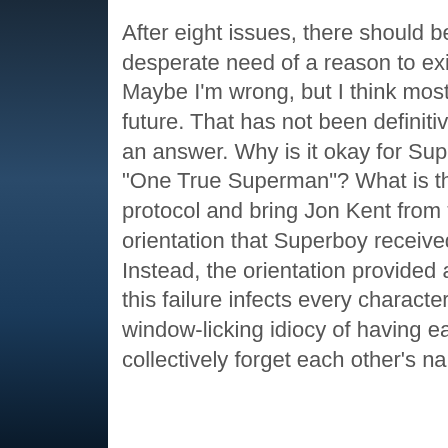After eight issues, there should be at least a desperate need of a reason to exist. Maybe I'm wrong, but I think most readers future. That has not been definitively answered an answer. Why is it okay for Superboy to be "One True Superman"? What is the moral protocol and bring Jon Kent from the past? The orientation that Superboy received. No. Instead, the orientation provided an overview this failure infects every character in the window-licking idiocy of having each Legion collectively forget each other's names